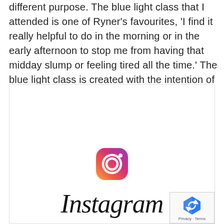different purpose. The blue light class that I attended is one of Ryner's favourites, 'I find it really helpful to do in the morning or in the early afternoon to stop me from having that midday slump or feeling tired all the time.' The blue light class is created with the intention of helping you to feel alert, awake and energised.
[Figure (logo): Instagram logo: gradient camera icon above the Instagram wordmark in script font]